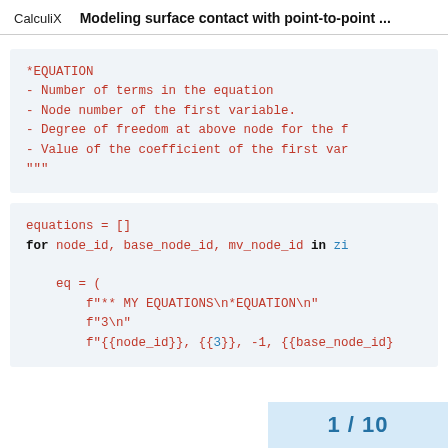CalculiX   Modeling surface contact with point-to-point ...
*EQUATION
- Number of terms in the equation
- Node number of the first variable.
- Degree of freedom at above node for the f
- Value of the coefficient of the first var
"""
equations = []
for node_id, base_node_id, mv_node_id in zi

    eq = (
        f"** MY EQUATIONS\n*EQUATION\n"
        f"3\n"
        f"{node_id}, {3}, -1, {base_node_id}
1 / 10